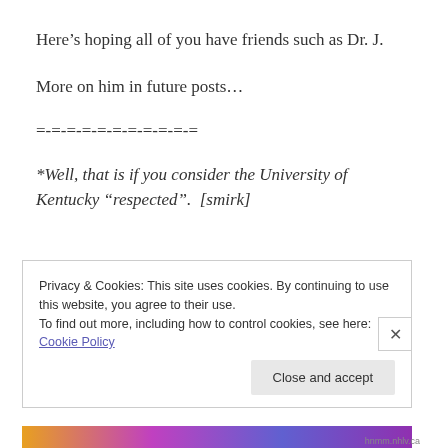Here’s hoping all of you have friends such as Dr. J.
More on him in future posts…
=-=-=-=-=-=-=-=-=-=
*Well, that is if you consider the University of Kentucky “respected”.  [smirk]
Privacy & Cookies: This site uses cookies. By continuing to use this website, you agree to their use.
To find out more, including how to control cookies, see here: Cookie Policy